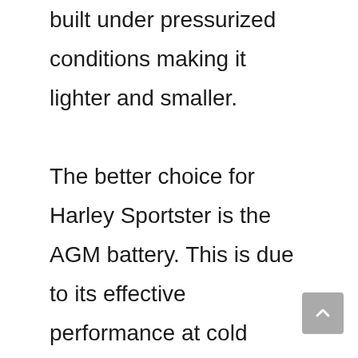built under pressurized conditions making it lighter and smaller.

The better choice for Harley Sportster is the AGM battery. This is due to its effective performance at cold conditions, greater discharge rate, and less prone to sulfation. Like gel batteries, the charger for these AGM batteries has to be appropriately chosen to